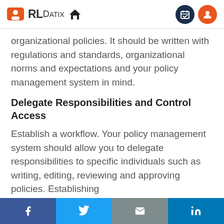RLDatix
organizational policies. It should be written with regulations and standards, organizational norms and expectations and your policy management system in mind.
Delegate Responsibilities and Control Access
Establish a workflow. Your policy management system should allow you to delegate responsibilities to specific individuals such as writing, editing, reviewing and approving policies. Establishing
f  t  email  in